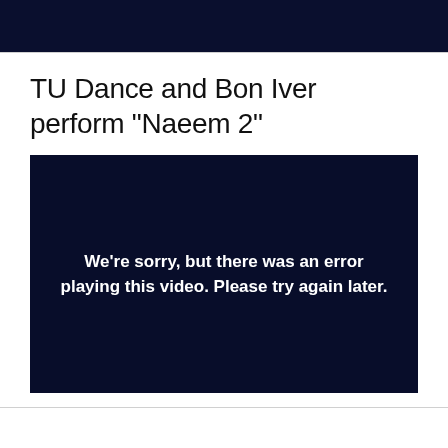TU Dance and Bon Iver perform “Naeem 2”
[Figure (screenshot): Dark navy video player showing error message: We're sorry, but there was an error playing this video. Please try again later.]